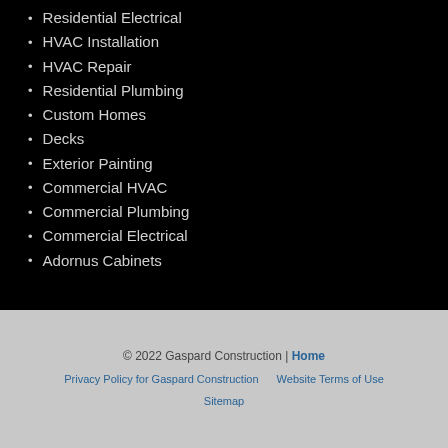Residential Electrical
HVAC Installation
HVAC Repair
Residential Plumbing
Custom Homes
Decks
Exterior Painting
Commercial HVAC
Commercial Plumbing
Commercial Electrical
Adornus Cabinets
© 2022 Gaspard Construction | Home
Privacy Policy for Gaspard Construction   Website Terms of Use
Sitemap